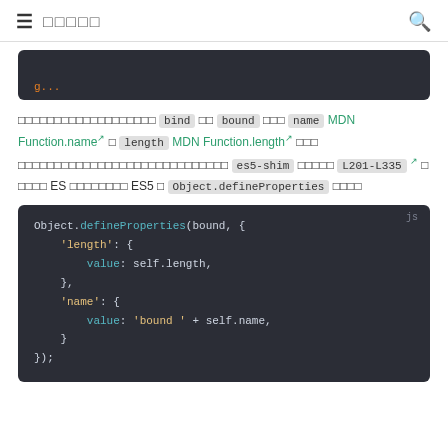≡ □□□□□
[Figure (screenshot): Partial dark code block at top of page showing JavaScript code snippet]
□□□□□□□□□□□□□□□□□□□ bind □□ bound □□□ name MDN Function.name □ □ length MDN Function.length□ □□□ □□□□□□□□□□□□□□□□□□□□□□□□□□□□□ es5-shim □□□□□ L201-L335 □ □ □□□□ ES □□□□□□□□ ES5 □ Object.defineProperties □□□□
[Figure (screenshot): Dark code block showing Object.defineProperties(bound, { 'length': { value: self.length, }, 'name': { value: 'bound ' + self.name, } });]